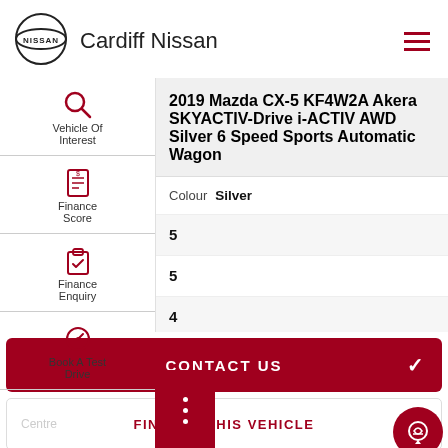Cardiff Nissan
[Figure (logo): Nissan logo - circular emblem with NISSAN text]
Vehicle Of Interest
[Figure (illustration): Search/magnifying glass icon in crimson red]
Finance Score
[Figure (illustration): Finance score document icon in crimson red]
Finance Enquiry
[Figure (illustration): Clipboard with checkmark icon in crimson red]
Book A Test Drive
[Figure (illustration): Key/steering wheel icon in crimson red]
2019 Mazda CX-5 KF4W2A Akera SKYACTIV-Drive i-ACTIV AWD Silver 6 Speed Sports Automatic Wagon
Colour	Silver
5
5
4
Diesel
CONTACT US
FINANCE THIS VEHICLE